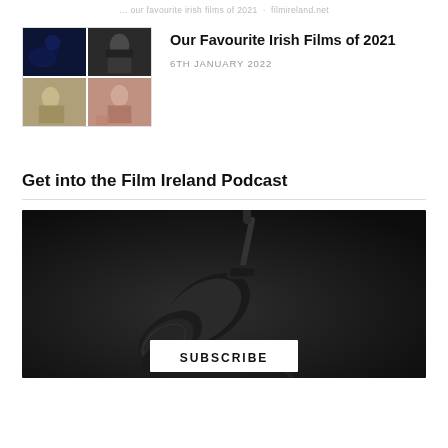… … … … … … …
[Figure (photo): Grid of four film stills: top-left dark blue scene, top-right man in suit, bottom-left figure in muted tones, bottom-right woman in red]
Our Favourite Irish Films of 2021
6TH JANUARY 2022
Get into the Film Ireland Podcast
[Figure (photo): Dark background photo of a professional podcast microphone with a white SUBSCRIBE button overlay at the bottom centre]